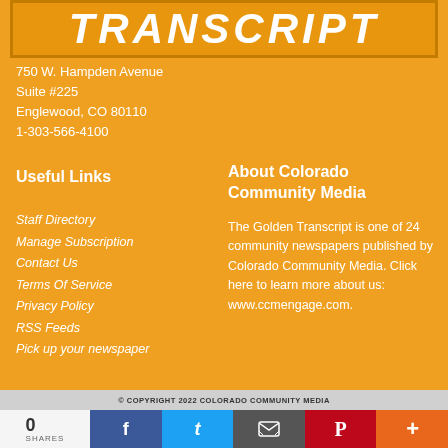[Figure (logo): Golden Transcript newspaper logo banner with orange background and white bold italic text]
750 W. Hampden Avenue
Suite #225
Englewood, CO 80110
1-303-566-4100
Useful Links
About Colorado Community Media
Staff Directory
Manage Subscription
Contact Us
Terms Of Service
Privacy Policy
RSS Feeds
Pick up your newspaper
The Golden Transcript is one of 24 community newspapers published by Colorado Community Media. Click here to learn more about us: www.ccmengage.com.
© COPYRIGHT 2022 COLORADO COMMUNITY MEDIA
0
SHARES